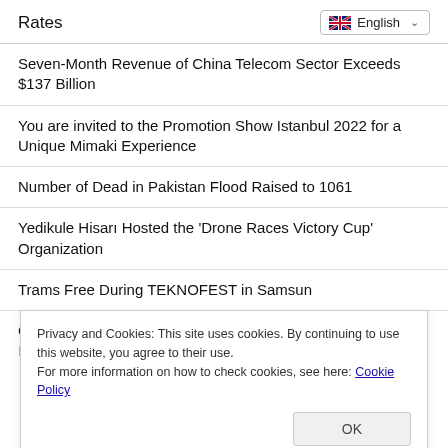Rates
Seven-Month Revenue of China Telecom Sector Exceeds $137 Billion
You are invited to the Promotion Show Istanbul 2022 for a Unique Mimaki Experience
Number of Dead in Pakistan Flood Raised to 1061
Yedikule Hisarı Hosted the 'Drone Races Victory Cup' Organization
Trams Free During TEKNOFEST in Samsun
GÜNSEL Academy's First Graduates Placed in NEU's Departments with 100 Percent Scholarship
Privacy and Cookies: This site uses cookies. By continuing to use this website, you agree to their use.
For more information on how to check cookies, see here: Cookie Policy